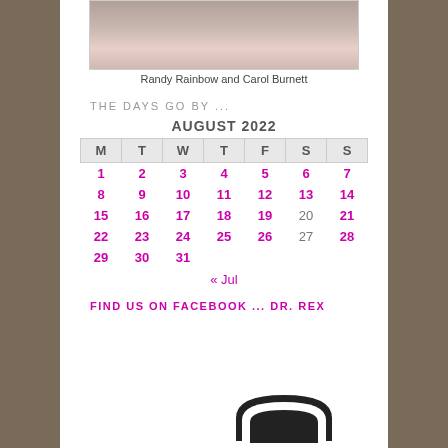[Figure (photo): Photo of Randy Rainbow and Carol Burnett, two people posing together, cropped at top]
Randy Rainbow and Carol Burnett
THE DAYS GO BY ...
| M | T | W | T | F | S | S |
| --- | --- | --- | --- | --- | --- | --- |
| 1 | 2 | 3 | 4 | 5 | 6 | 7 |
| 8 | 9 | 10 | 11 | 12 | 13 | 14 |
| 15 | 16 | 17 | 18 | 19 | 20 | 21 |
| 22 | 23 | 24 | 25 | 26 | 27 | 28 |
| 29 | 30 | 31 |  |  |  |  |
« Jul
FIND US ON FACEBOOK ... DR. REX
[Figure (logo): Shield/crest logo at bottom of page]